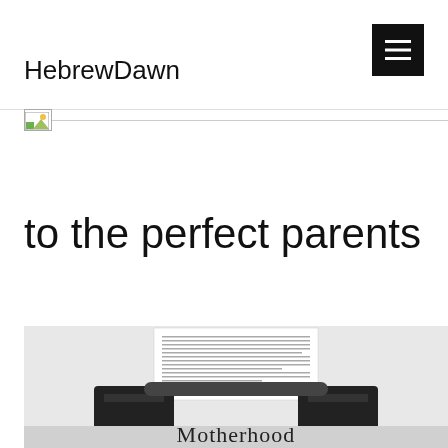HebrewDawn
[Figure (other): Broken/placeholder image icon with a horizontal line extending to the right, representing a banner image that failed to load]
to the perfect parents
[Figure (photo): Photo of a typewriter with a sheet of paper loaded, text visible on the paper, and the word 'Motherhood' overlaid at the bottom in serif font]